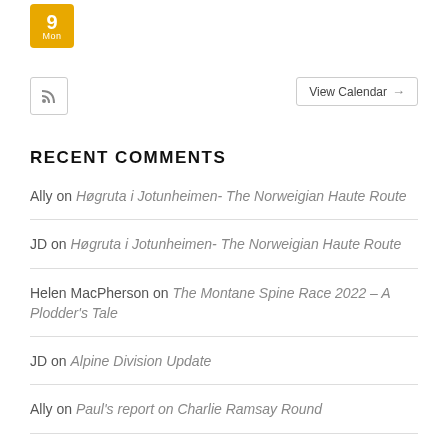[Figure (other): Calendar icon showing day 9, Mon, in gold/yellow color]
[Figure (other): RSS feed button icon in a square border]
[Figure (other): View Calendar button with arrow]
RECENT COMMENTS
Ally on Høgruta i Jotunheimen- The Norweigian Haute Route
JD on Høgruta i Jotunheimen- The Norweigian Haute Route
Helen MacPherson on The Montane Spine Race 2022 – A Plodder's Tale
JD on Alpine Division Update
Ally on Paul's report on Charlie Ramsay Round